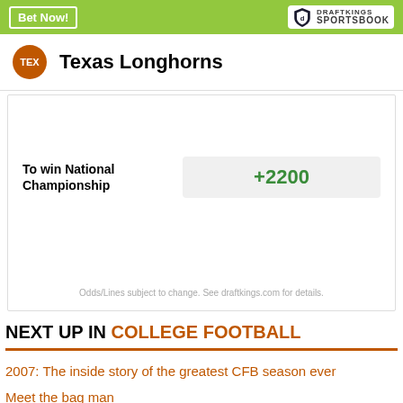[Figure (screenshot): DraftKings Sportsbook header bar with 'Bet Now!' button and DraftKings Sportsbook logo on green background]
Texas Longhorns
| Bet | Odds |
| --- | --- |
| To win National Championship | +2200 |
Odds/Lines subject to change. See draftkings.com for details.
NEXT UP IN COLLEGE FOOTBALL
2007: The inside story of the greatest CFB season ever
Meet the bag man
The all-time 'consensus' national championships list